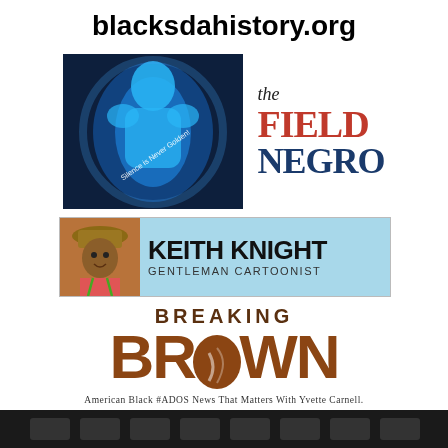blacksdahistory.org
[Figure (logo): The Field Negro blog logo: glowing blue figure with text 'Silence is Never Golden!' and 'the FIELD NEGRO' in red and blue serif font]
[Figure (logo): Keith Knight Gentleman Cartoonist logo: photo of Keith Knight with name on blue background]
[Figure (logo): Breaking Brown logo: large brown bold text with tagline 'American Black #ADOS news that matters with Yvette Carnell.']
[Figure (logo): Partial dark banner at the bottom of the page]